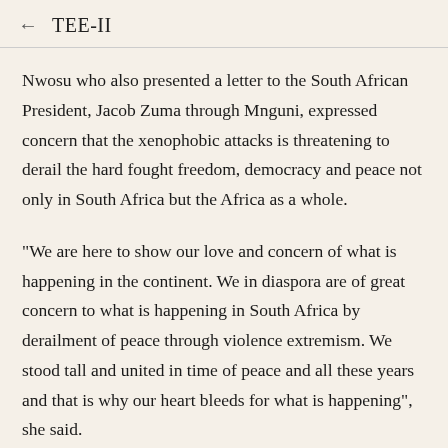← TEE-II
Nwosu who also presented a letter to the South African President, Jacob Zuma through Mnguni, expressed concern that the xenophobic attacks is threatening to derail the hard fought freedom, democracy and peace not only in South Africa but the Africa as a whole.
"We are here to show our love and concern of what is happening in the continent. We in diaspora are of great concern to what is happening in South Africa by derailment of peace through violence extremism. We stood tall and united in time of peace and all these years and that is why our heart bleeds for what is happening", she said.
Nwosu insisted that there is no alternative to nonviolence, which she said, is the only wa to reestablish a broken community, and seeks to implement the just law by appealing to the conscience of the great decent majority who through blindness, fear, pride, and